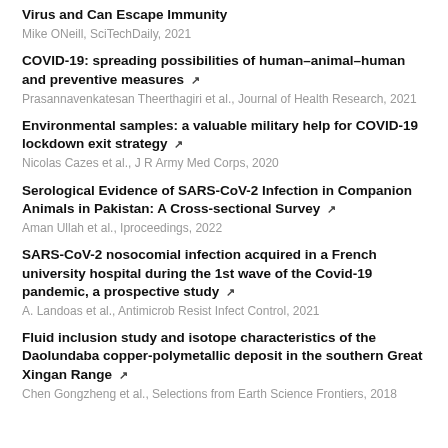Virus and Can Escape Immunity
Mike ONeill, SciTechDaily, 2021
COVID-19: spreading possibilities of human–animal–human and preventive measures
Prasannavenkatesan Theerthagiri et al., Journal of Health Research, 2021
Environmental samples: a valuable military help for COVID-19 lockdown exit strategy
Nicolas Cazes et al., J R Army Med Corps, 2020
Serological Evidence of SARS-CoV-2 Infection in Companion Animals in Pakistan: A Cross-sectional Survey
Aman Ullah et al., Iproceedings, 2022
SARS-CoV-2 nosocomial infection acquired in a French university hospital during the 1st wave of the Covid-19 pandemic, a prospective study
A. Landoas et al., Antimicrob Resist Infect Control, 2021
Fluid inclusion study and isotope characteristics of the Daolundaba copper-polymetallic deposit in the southern Great Xingan Range
Chen Gongzheng et al., Selections from Earth Science Frontiers, 2018